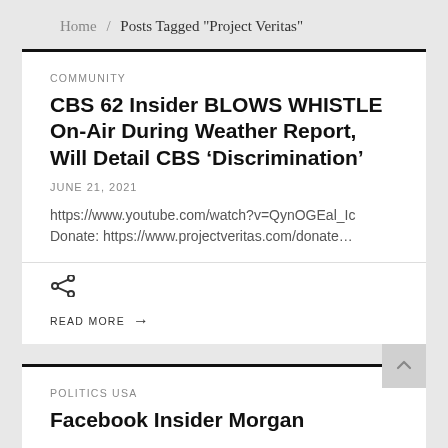Home / Posts Tagged "Project Veritas"
COMMUNITY
CBS 62 Insider BLOWS WHISTLE On-Air During Weather Report, Will Detail CBS ‘Discrimination’
JUNE 21, 2021
https://www.youtube.com/watch?v=QynOGEal_Ic Donate: https://www.projectveritas.com/donate…
READ MORE →
POLITICS USA
Facebook Insider Morgan